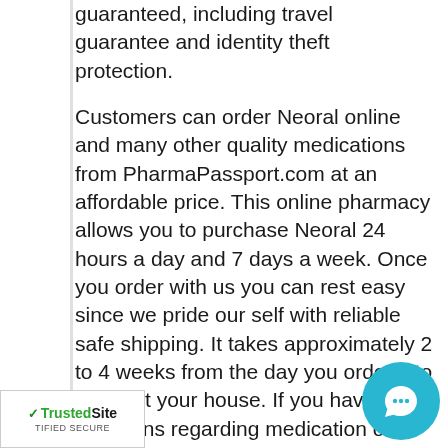guaranteed, including travel guarantee and identity theft protection.
Customers can order Neoral online and many other quality medications from PharmaPassport.com at an affordable price. This online pharmacy allows you to purchase Neoral 24 hours a day and 7 days a week. Once you order with us you can rest easy since we pride our self with reliable safe shipping. It takes approximately 2 to 4 weeks from the day you order it to arrive at your house. If you have any questions regarding medication or basic inquires about PharmaPassport.com you can contact by mail, phone or internet. If you wish t... eak to a representative be sure to ca... ir toll free number 1-866-293-3904 from